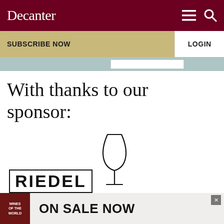Decanter
SUBSCRIBE NOW
LOGIN
With thanks to our sponsor:
[Figure (logo): Riedel — The Wine Glass Company logo with a wine glass illustration]
[Figure (infographic): Advertisement banner: Wines of the World book, ON SALE NOW]